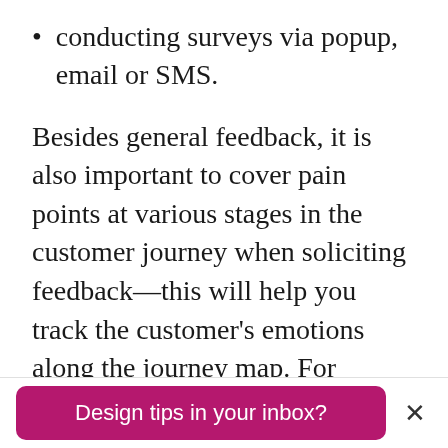conducting surveys via popup, email or SMS.
Besides general feedback, it is also important to cover pain points at various stages in the customer journey when soliciting feedback—this will help you track the customer's emotions along the journey map. For example, a survey given to a new site visitor will give you different insight from a survey following a refund.
Design tips in your inbox?